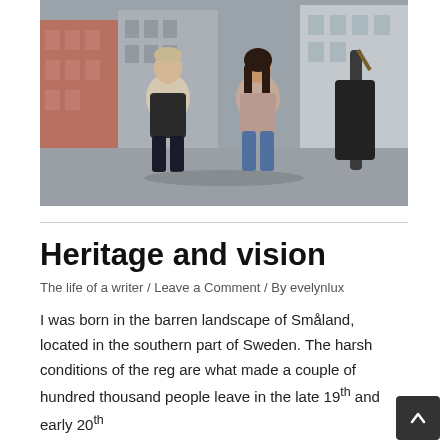[Figure (photo): Two young people (a man in a beige jacket and black turtleneck, and a woman in a light mauve jacket and ripped jeans) sitting on a ledge on a city street, with colourful buildings in the background.]
Heritage and vision
The life of a writer / Leave a Comment / By evelynlux
I was born in the barren landscape of Småland, located in the southern part of Sweden. The harsh conditions of the reg are what made a couple of hundred thousand people leave in the late 19th and early 20th centuries when immigrants built a...